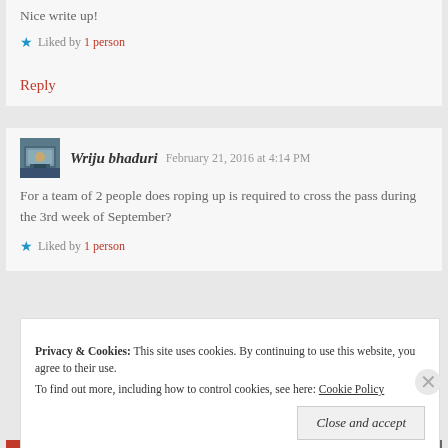Nice write up!
Liked by 1 person
Reply
Wriju bhaduri   February 21, 2016 at 4:14 PM
For a team of 2 people does roping up is required to cross the pass during the 3rd week of September?
Liked by 1 person
Privacy & Cookies:  This site uses cookies. By continuing to use this website, you agree to their use. To find out more, including how to control cookies, see here: Cookie Policy
Close and accept